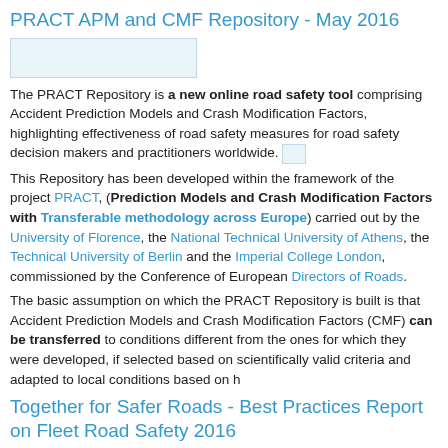PRACT APM and CMF Repository - May 2016
[Figure (other): Small thumbnail image placeholder]
The PRACT Repository is a new online road safety tool comprising Accident Prediction Models and Crash Modification Factors, highlighting effectiveness of road safety measures for road safety decision makers and practitioners worldwide.
This Repository has been developed within the framework of the project PRACT, (Prediction Models and Crash Modification Factors with Transferable methodology across Europe) carried out by the University of Florence, the National Technical University of Athens, the Technical University of Berlin and the Imperial College London, commissioned by the Conference of European Directors of Roads.
The basic assumption on which the PRACT Repository is built is that Accident Prediction Models and Crash Modification Factors (CMF) can be transferred to conditions different from the ones for which they were developed, if selected based on scientifically valid criteria and adapted to local conditions based on harmonised data.
Together for Safer Roads - Best Practices Report on Fleet Road Safety 2016
[Figure (other): Small thumbnail image placeholder]
In conjunction with World Day for Safety and Health at Work, Together for Safer Roads (TSR), the Coalition of global private sector companies, released the Advancing Road Safety in Companies and Their Fleets report.
The Report outlines practices that companies can use to keep employees, partners, and contractors safe, as well as minimize costs. Globally, between 25 and 33 percent of road crashes are work-related, and 22% of occupational deaths are due to crashes. While these are sobering and devastating human consequences, crashes cost the global economy an estimated USD $518 billion a year and can affect a business'